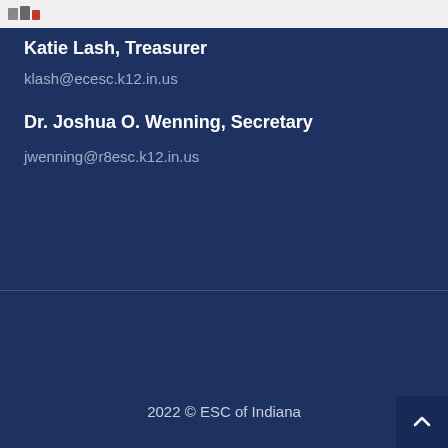Katie Lash, Treasurer
klash@ecesc.k12.in.us
Dr. Joshua O. Wenning, Secretary
jwenning@r8esc.k12.in.us
2022 © ESC of Indiana